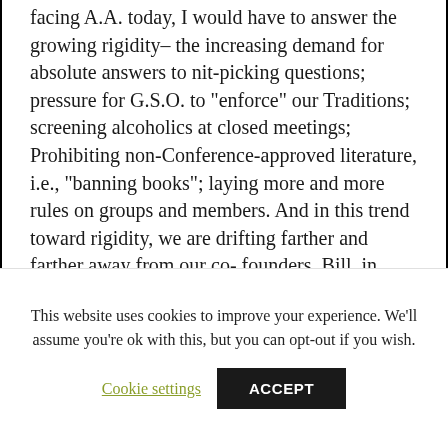facing A.A. today, I would have to answer the growing rigidity– the increasing demand for absolute answers to nit-picking questions; pressure for G.S.O. to "enforce" our Traditions; screening alcoholics at closed meetings; Prohibiting non-Conference-approved literature, i.e., "banning books"; laying more and more rules on groups and members. And in this trend toward rigidity, we are drifting farther and farther away from our co- founders. Bill, in particular, must be spinning in his grave, for he was perhaps the most permissive person I ever met. [emphasis in the original] [Source
This website uses cookies to improve your experience. We'll assume you're ok with this, but you can opt-out if you wish.